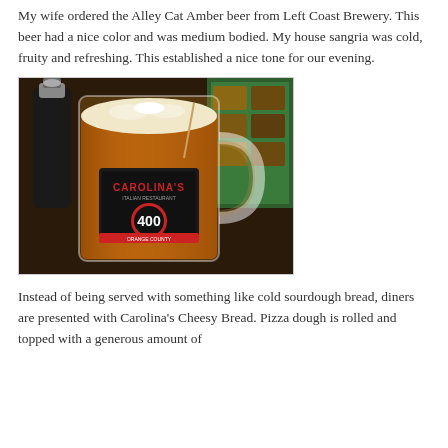My wife ordered the Alley Cat Amber beer from Left Coast Brewery. This beer had a nice color and was medium bodied. My house sangria was cold, fruity and refreshing. This established a nice tone for our evening.
[Figure (photo): A glass beer mug filled with amber beer, branded with Carolina's Italian Restaurant logo and '400' emblem, sitting on a dark counter with a condiment bottle in the background and a green menu board visible.]
Instead of being served with something like cold sourdough bread, diners are presented with Carolina's Cheesy Bread. Pizza dough is rolled and topped with a generous amount of